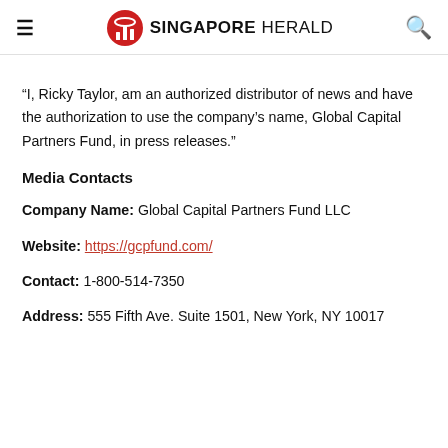Singapore Herald
“I, Ricky Taylor, am an authorized distributor of news and have the authorization to use the company’s name, Global Capital Partners Fund, in press releases.”
Media Contacts
Company Name: Global Capital Partners Fund LLC
Website: https://gcpfund.com/
Contact: 1-800-514-7350
Address: 555 Fifth Ave. Suite 1501, New York, NY 10017